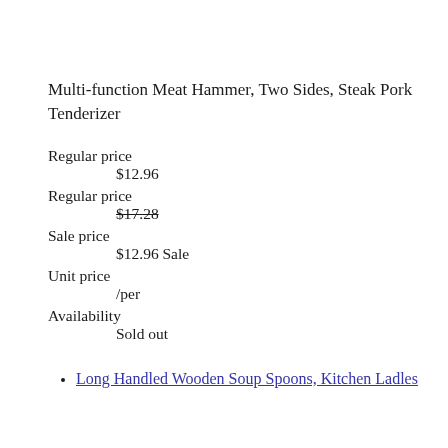Multi-function Meat Hammer, Two Sides, Steak Pork Tenderizer
Regular price
$12.96
Regular price
$17.28
Sale price
$12.96 Sale
Unit price
/per
Availability
Sold out
Long Handled Wooden Soup Spoons, Kitchen Ladles